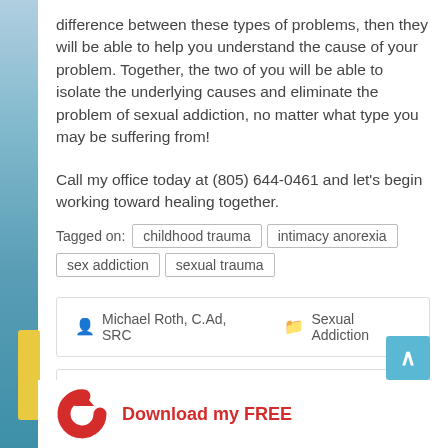difference between these types of problems, then they will be able to help you understand the cause of your problem. Together, the two of you will be able to isolate the underlying causes and eliminate the problem of sexual addiction, no matter what type you may be suffering from!
Call my office today at (805) 644-0461 and let’s begin working toward healing together.
Tagged on: childhood trauma | intimacy anorexia | sex addiction | sexual trauma
Michael Roth, C.Ad, SRC   Sexual Addiction
Why Covert Incest Remains Under the Radar →
[Figure (logo): Red curved logo icon with Download my FREE text in red]